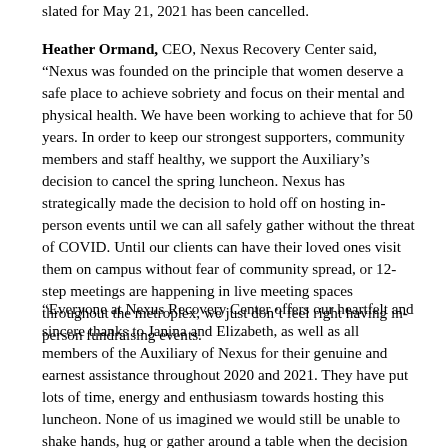slated for May 21, 2021 has been cancelled.
Heather Ormand, CEO, Nexus Recovery Center said, “Nexus was founded on the principle that women deserve a safe place to achieve sobriety and focus on their mental and physical health. We have been working to achieve that for 50 years. In order to keep our strongest supporters, community members and staff healthy, we support the Auxiliary’s decision to cancel the spring luncheon. Nexus has strategically made the decision to hold off on hosting in-person events until we can all safely gather without the threat of COVID. Until our clients can have their loved ones visit them on campus without fear of community spread, or 12-step meetings are happening in live meeting spaces throughout the metroplex, we just don’t feel right having in-person fundraising events.
“Everyone at Nexus Recovery Center offers our heartfelt and sincere thanks to Janina and Elizabeth, as well as all members of the Auxiliary of Nexus for their genuine and earnest assistance throughout 2020 and 2021. They have put lots of time, energy and enthusiasm towards hosting this luncheon. None of us imagined we would still be unable to shake hands, hug or gather around a table when the decision was made to postpone 2020’s event to 2021. However, like so many others, we are adjusting to the